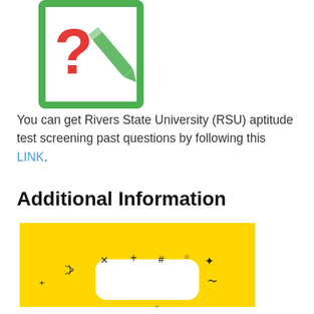[Figure (illustration): Green square document icon with a large red question mark and a green pencil/checkmark overlaid on it]
You can get Rivers State University (RSU) aptitude test screening past questions by following this LINK.
Additional Information
[Figure (illustration): Yellow background illustration showing a smartphone with sparkle/star symbols around it suggesting notifications or alerts]